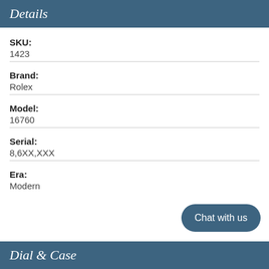Details
SKU: 1423
Brand: Rolex
Model: 16760
Serial: 8,6XX,XXX
Era: Modern
Dial & Case